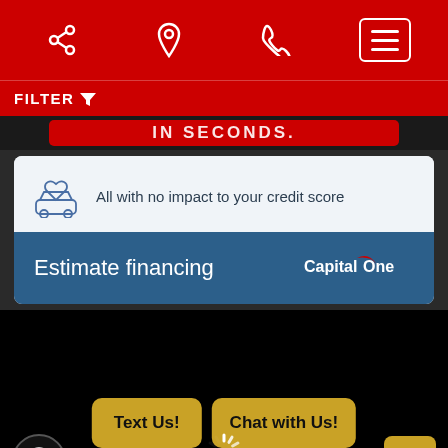[Figure (screenshot): Red mobile app header with share, location, phone, and menu icons]
FILTER
IN SECONDS.
All with no impact to your credit score
Estimate financing
[Figure (logo): Capital One logo in white on dark blue background]
Text Us!
Chat with Us!